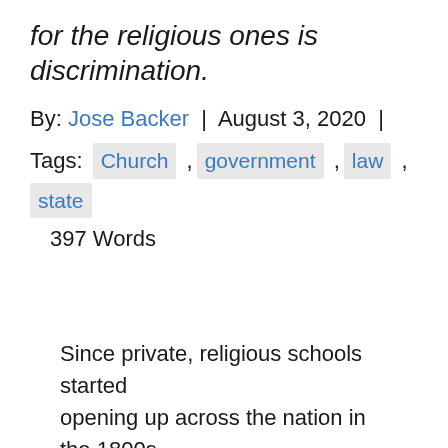for the religious ones is discrimination.
By: Jose Backer | August 3, 2020 |
Tags: Church , government , law , state
397 Words
Since private, religious schools started opening up across the nation in the 1800s